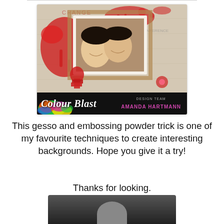[Figure (photo): Scrapbook art layout featuring two smiling women in a photo mounted on a decorative mixed-media background with red paint splashes, cardboard textures, and embellishments. Bottom banner reads 'Colour Blast' on the left with colorful swirl background, and 'DESIGN TEAM AMANDA HARTMANN' on the right in pink text on black.]
This gesso and embossing powder trick is one of my favourite techniques to create interesting backgrounds. Hope you give it a try!
Thanks for looking.
[Figure (photo): Partial black and white photo visible at bottom of page, showing the top of a person's head.]